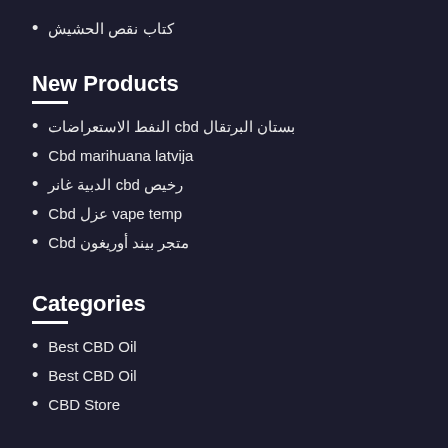كتاب نقص الحشيش
New Products
النفط الاستعراضات cbd بستان البرتقال
Cbd marihuana latvija
الدبية غانر cbd رخيص
Cbd عزل vape temp
Cbd متجر بيند أوريغون
Categories
Best CBD Oil
Best CBD Oil
CBD Store